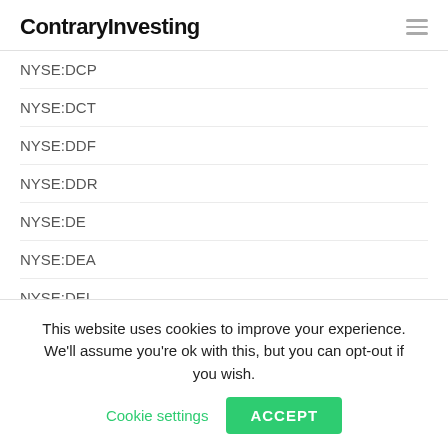ContraryInvesting
NYSE:DCP
NYSE:DCT
NYSE:DDF
NYSE:DDR
NYSE:DE
NYSE:DEA
NYSE:DEI
NYSE:DFP
NYSE:DFS
This website uses cookies to improve your experience. We'll assume you're ok with this, but you can opt-out if you wish.
Cookie settings
ACCEPT